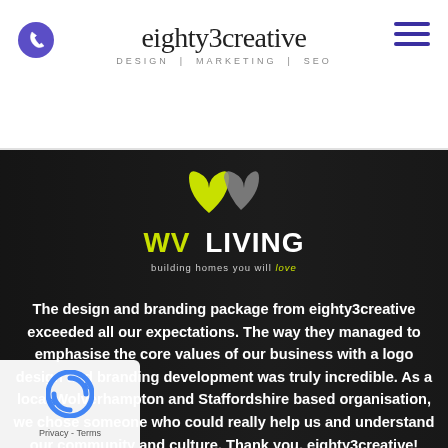eighty3creative DESIGN | MARKETING | SEO
[Figure (logo): WV Living logo - green and grey W mark with text 'WV LIVING' and tagline 'building homes you will love']
The design and branding package from eighty3creative exceeded all our expectations. The way they managed to emphasise the core values of our business with a logo design and branding development was truly incredible. As a local Wolverhampton and Staffordshire based organisation, we chose someone who could really help us and understand our community and culture. Thank you, eighty3creative! We're so happy with what you've achieved.